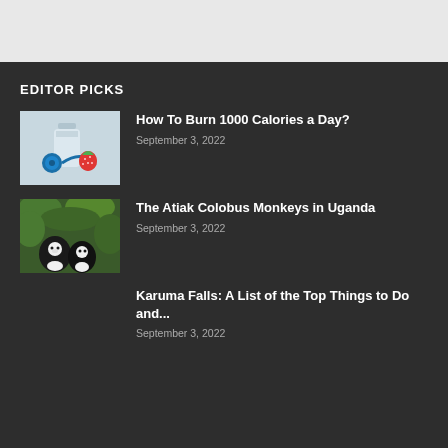EDITOR PICKS
[Figure (photo): Photo of a tape measure and strawberry on a white background, related to calorie/diet topic]
How To Burn 1000 Calories a Day?
September 3, 2022
[Figure (photo): Photo of black and white Colobus monkeys in green foliage in Uganda]
The Atiak Colobus Monkeys in Uganda
September 3, 2022
Karuma Falls: A List of the Top Things to Do and...
September 3, 2022